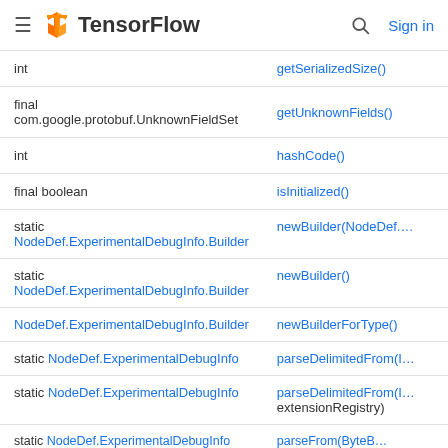TensorFlow
| Return type | Method |
| --- | --- |
| int | getSerializedSize() |
| final com.google.protobuf.UnknownFieldSet | getUnknownFields() |
| int | hashCode() |
| final boolean | isInitialized() |
| static NodeDef.ExperimentalDebugInfo.Builder | newBuilder(NodeDef.… |
| static NodeDef.ExperimentalDebugInfo.Builder | newBuilder() |
| NodeDef.ExperimentalDebugInfo.Builder | newBuilderForType() |
| static NodeDef.ExperimentalDebugInfo | parseDelimitedFrom(I… |
| static NodeDef.ExperimentalDebugInfo | parseDelimitedFrom(I… extensionRegistry) |
| static NodeDef.ExperimentalDebugInfo | parseFrom(ByteB… |